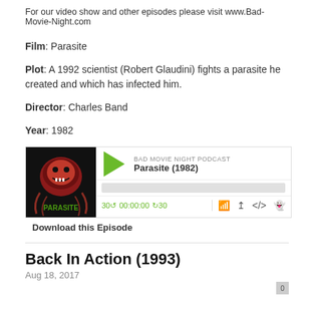For our video show and other episodes please visit www.Bad-Movie-Night.com
Film: Parasite
Plot: A 1992 scientist (Robert Glaudini) fights a parasite he created and which has infected him.
Director: Charles Band
Year: 1982
[Figure (screenshot): Podcast player widget showing Bad Movie Night Podcast episode 'Parasite (1982)' with play button, progress bar, time controls showing 00:00:00, and playback icons]
Download this Episode
Back In Action (1993)
Aug 18, 2017